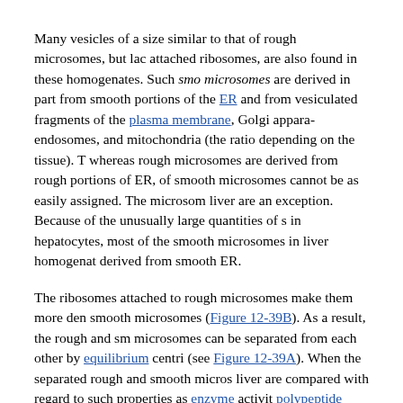Many vesicles of a size similar to that of rough microsomes, but lacking attached ribosomes, are also found in these homogenates. Such smooth microsomes are derived in part from smooth portions of the ER and from vesiculated fragments of the plasma membrane, Golgi apparatus, endosomes, and mitochondria (the ratio depending on the tissue). The whereas rough microsomes are derived from rough portions of ER, of smooth microsomes cannot be as easily assigned. The microsomes of liver are an exception. Because of the unusually large quantities of smooth in hepatocytes, most of the smooth microsomes in liver homogenates are derived from smooth ER.
The ribosomes attached to rough microsomes make them more dense than smooth microsomes (Figure 12-39B). As a result, the rough and smooth microsomes can be separated from each other by equilibrium centrifugation (see Figure 12-39A). When the separated rough and smooth microsomes of liver are compared with regard to such properties as enzyme activity, polypeptide composition, they are very similar, although not identical; apparently most of the components of the ER membrane can diffuse between the rough and smooth regions, as would be expected for a continuous, fluid membrane. The rough microsomes, however, cont